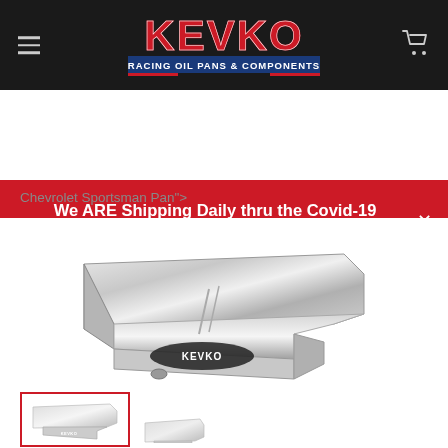[Figure (logo): KEVKO Racing Oil Pans & Components logo in red and blue text on dark background header navigation bar with hamburger menu and cart icon]
We ARE Shipping Daily thru the Covid-19 Outbreak!
Chevrolet Sportsman Pan">
[Figure (photo): Chrome/silver Chevrolet Sportsman oil pan product photo with Kevko branding label on side]
[Figure (photo): Thumbnail image of oil pan with red border selection indicator (selected thumbnail)]